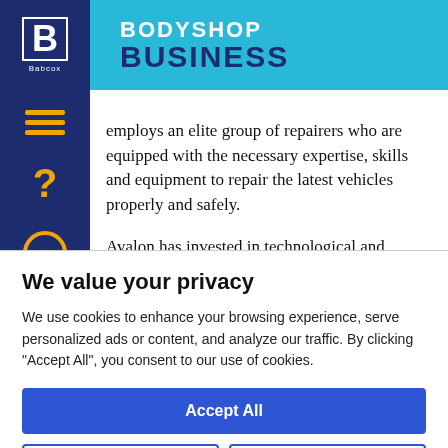BodyShop Business
employs an elite group of repairers who are equipped with the necessary expertise, skills and equipment to repair the latest vehicles properly and safely.

Avalon has invested in technological and
We value your privacy
We use cookies to enhance your browsing experience, serve personalized ads or content, and analyze our traffic. By clicking "Accept All", you consent to our use of cookies.
Accept All
Customize
Reject All